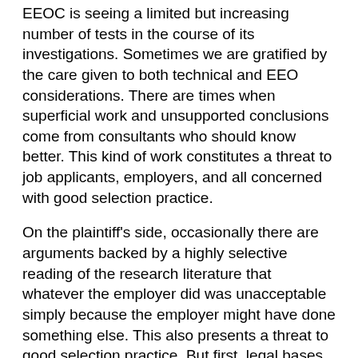EEOC is seeing a limited but increasing number of tests in the course of its investigations. Sometimes we are gratified by the care given to both technical and EEO considerations. There are times when superficial work and unsupported conclusions come from consultants who should know better. This kind of work constitutes a threat to job applicants, employers, and all concerned with good selection practice.
On the plaintiff's side, occasionally there are arguments backed by a highly selective reading of the research literature that whatever the employer did was unacceptable simply because the employer might have done something else. This also presents a threat to good selection practice. But first, legal bases from the Office of Legal Counsel.
MS. MIASKOFF: Thank you very much, Rich. Good morning, Madam Chair, Madam Vice Chair, Commissioners,